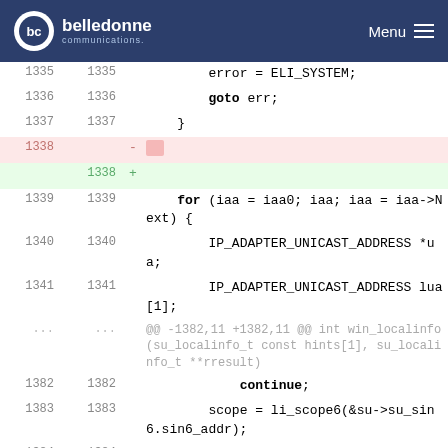belledonne communications - Menu
[Figure (screenshot): Code diff view showing lines 1335-1387 of a C source file with context, deleted lines (1338, 1385) and added lines (1338, 1385) in a git diff format. Key changes include removal and addition of blank line at 1338, and change from 'else' with highlight to plain 'else' at 1385.]